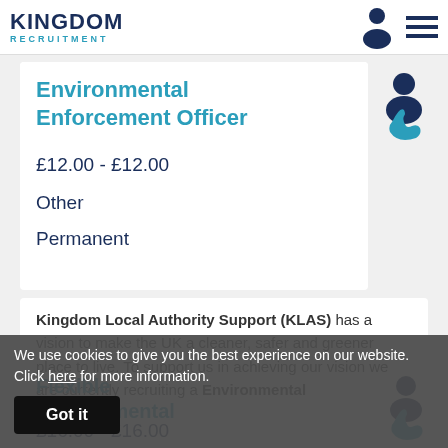Afternoon Shift
[Figure (logo): Kingdom Recruitment logo with person and phone icons]
Environmental Enforcement Officer
£12.00 - £12.00
Other
Permanent
Kingdom Local Authority Support (KLAS) has a vision to make the UK a cleaner, safer and greener place to live. To support us in achieving our vision we are currently recruiting a Environmental
Flexible Environmental
£16.00 - £16.00
Other
We use cookies to give you the best experience on our website. Click here for more information. Got it